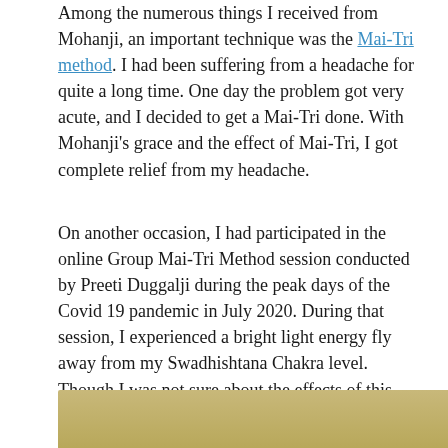Among the numerous things I received from Mohanji, an important technique was the Mai-Tri method. I had been suffering from a headache for quite a long time. One day the problem got very acute, and I decided to get a Mai-Tri done. With Mohanji's grace and the effect of Mai-Tri, I got complete relief from my headache.
On another occasion, I had participated in the online Group Mai-Tri Method session conducted by Preeti Duggalji during the peak days of the Covid 19 pandemic in July 2020. During that session, I experienced a bright light energy fly away from my Swadhishtana Chakra level. Though I was not sure about the effects of this, overall, I felt so pleasant after that. I hope a sort of inner cleansing must have taken place because of this Mai-Tri. I express my gratitude to Mohanji and Preetiji for this beautiful experience.
[Figure (photo): Bottom strip of an image showing a golden/tan colored background, partially visible at the bottom of the page.]